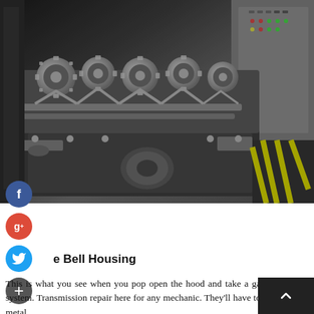[Figure (photo): Close-up photo of an engine with multiple gear assemblies, camshafts, and metal components visible, with industrial machinery and control panels in the background.]
e Bell Housing
This is what you see when you pop open the hood and take a gander at your system. Transmission repair here for any mechanic. They'll have to get into this metal